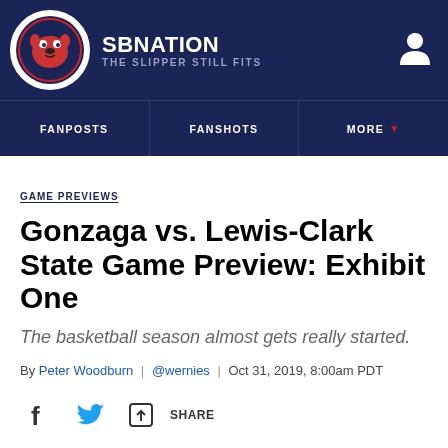SB NATION | THE SLIPPER STILL FITS
FANPOSTS | FANSHOTS | MORE
GAME PREVIEWS
Gonzaga vs. Lewis-Clark State Game Preview: Exhibit One
The basketball season almost gets really started.
By Peter Woodburn | @wernies | Oct 31, 2019, 8:00am PDT
SHARE